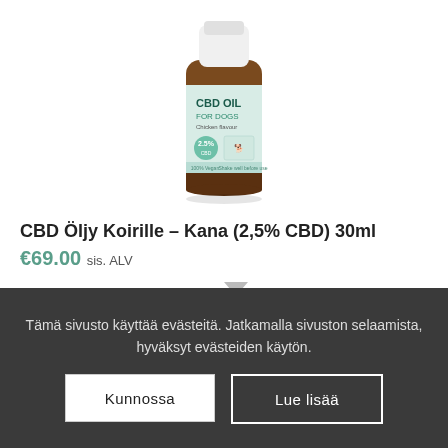[Figure (photo): A small brown glass dropper bottle with a white cap labeled 'CBD OIL FOR DOGS Chicken flavour 2.5% CBD', shown on a white background.]
CBD Öljy Koirille – Kana (2,5% CBD) 30ml
€69.00 sis. ALV
Tämä sivusto käyttää evästeitä. Jatkamalla sivuston selaamista, hyväksyt evästeiden käytön.